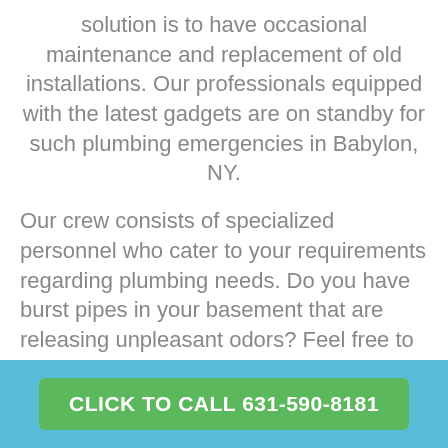solution is to have occasional maintenance and replacement of old installations. Our professionals equipped with the latest gadgets are on standby for such plumbing emergencies in Babylon, NY.
Our crew consists of specialized personnel who cater to your requirements regarding plumbing needs. Do you have burst pipes in your basement that are releasing unpleasant odors? Feel free to contact our experienced plumbers to tackle your plumbing issue with
CLICK TO CALL 631-590-8181